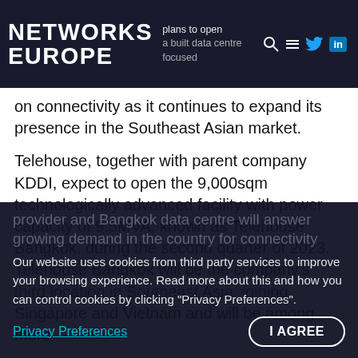NETWORKS EUROPE — plans to open — built data centre focused
on connectivity as it continues to expand its presence in the Southeast Asian market.
Telehouse, together with parent company KDDI, expect to open the 9,000sqm technologically advanced facility with power capacity of 9.5MVA, known as Telehouse Bangkok, during the second quarter of 2023. Telehouse Bangkok will be the company's third location in Southeast Asia, joining Singapore and Vietnam and will be among more
than 45 Telehouse data centres worldwide
Our website uses cookies from third party services to improve your browsing experience. Read more about this and how you can control cookies by clicking "Privacy Preferences".
provider and Bangkok data centre will answer growing demand in the country for connectivity
Privacy Preferences
I AGREE